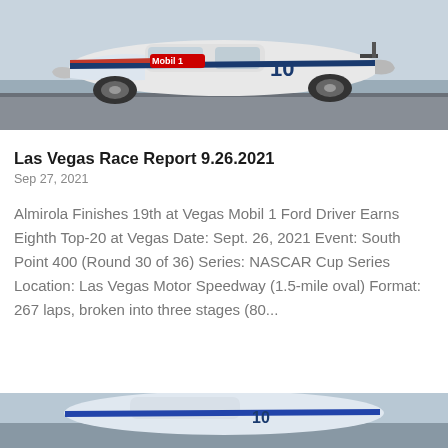[Figure (photo): NASCAR race car number 10 with Mobil 1 sponsorship livery on a race track, white and blue Ford Mustang]
Las Vegas Race Report 9.26.2021
Sep 27, 2021
Almirola Finishes 19th at Vegas Mobil 1 Ford Driver Earns Eighth Top-20 at Vegas Date: Sept. 26, 2021 Event: South Point 400 (Round 30 of 36) Series: NASCAR Cup Series Location: Las Vegas Motor Speedway (1.5-mile oval) Format: 267 laps, broken into three stages (80...
[Figure (photo): Partial view of NASCAR race car at bottom of page, light blue and white livery on race track]